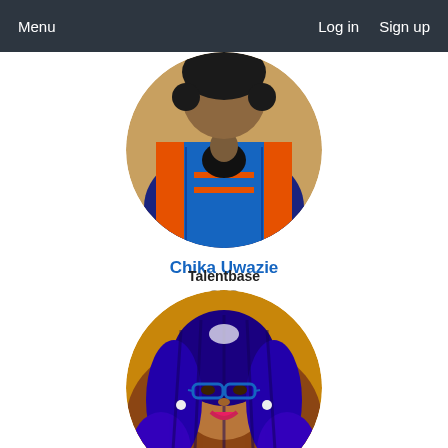Menu   Log in   Sign up
[Figure (photo): Circular profile photo of person wearing blue and orange African print jacket, torso visible, head cropped]
Chika Uwazie
Talentbase
CEO
[Figure (photo): Circular profile photo of smiling woman with blue braided hair wearing blue glasses and pink lipstick]